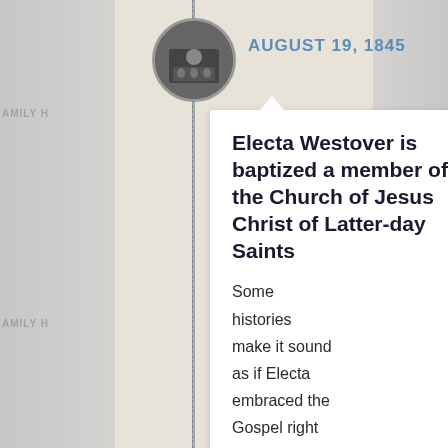[Figure (photo): Circular black and white historical family photo at top of timeline]
AUGUST 19, 1845
Electa Westover is baptized a member of the Church of Jesus Christ of Latter-day Saints
Some histories make it sound as if Electa embraced the Gospel right